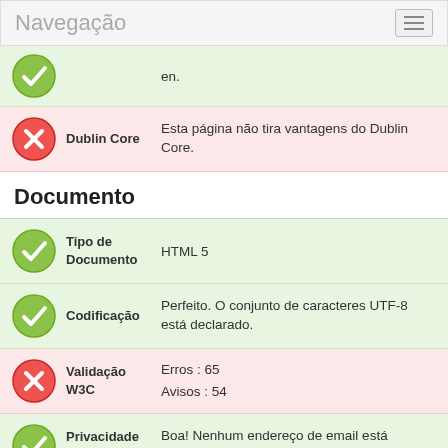Navegação
en.
Dublin Core — Esta página não tira vantagens do Dublin Core.
Documento
Tipo de Documento — HTML 5
Codificação — Perfeito. O conjunto de caracteres UTF-8 está declarado.
Validação W3C — Erros : 65 / Avisos : 54
Privacidade do Email — Boa! Nenhum endereço de email está declarado sob a forma de texto!